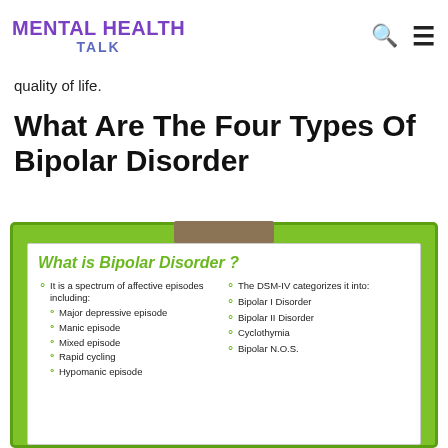MENTAL HEALTH TALK
quality of life.
What Are The Four Types Of Bipolar Disorder
[Figure (infographic): Clipboard infographic titled 'What is Bipolar Disorder?' listing: It is a spectrum of affective episodes including: Major depressive episode, Manic episode, Mixed episode, Rapid cycling, Hypomanic episode. The DSM-IV categorizes it into: Bipolar I Disorder, Bipolar II Disorder, Cyclothymia, Bipolar N.O.S.]